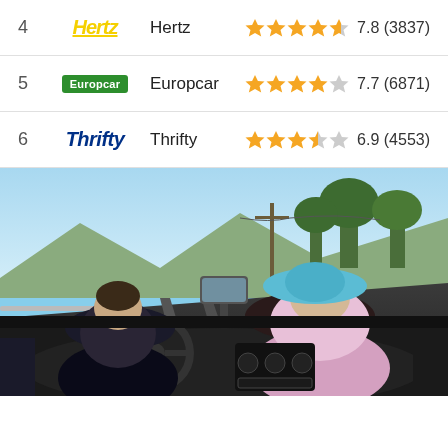4 Hertz Hertz 7.8 (3837)
5 Europcar Europcar 7.7 (6871)
6 Thrifty Thrifty 6.9 (4553)
[Figure (photo): Couple driving in a convertible car on a scenic road, viewed from behind. Woman wearing a light blue sun hat, man at the wheel. Trees and mountains in background under bright sky.]